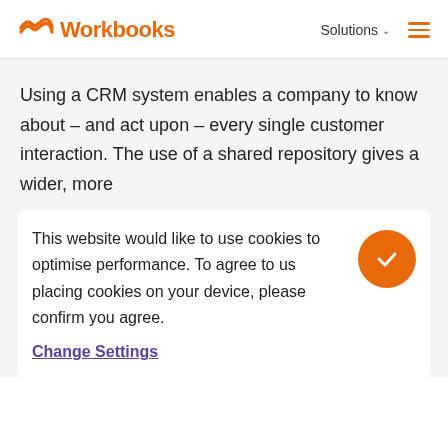Workbooks — Solutions (navigation header)
Using a CRM system enables a company to know about – and act upon – every single customer interaction.  The use of a shared repository gives a wider, more
This website would like to use cookies to optimise performance. To agree to us placing cookies on your device, please confirm you agree.
Change Settings